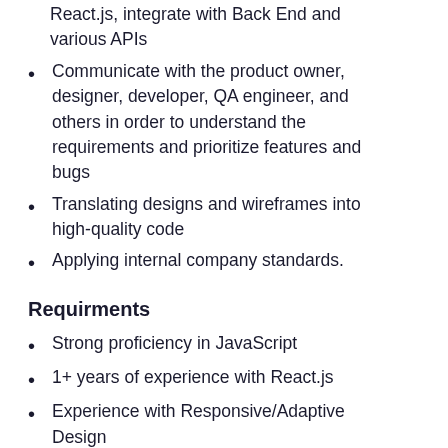React.js, integrate with Back End and various APIs
Communicate with the product owner, designer, developer, QA engineer, and others in order to understand the requirements and prioritize features and bugs
Translating designs and wireframes into high-quality code
Applying internal company standards.
Requirments
Strong proficiency in JavaScript
1+ years of experience with React.js
Experience with Responsive/Adaptive Design